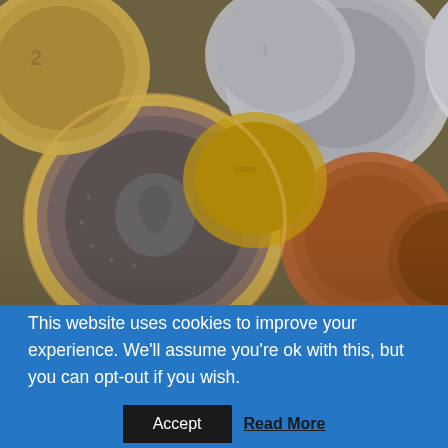[Figure (photo): Close-up photograph of various Euro coins piled together, including 1 euro coins (silver and gold bimetallic), silver 1 cent coins, and copper/bronze small denomination coins, filling the upper portion of the page.]
This website uses cookies to improve your experience. We'll assume you're ok with this, but you can opt-out if you wish.
Accept
Read More